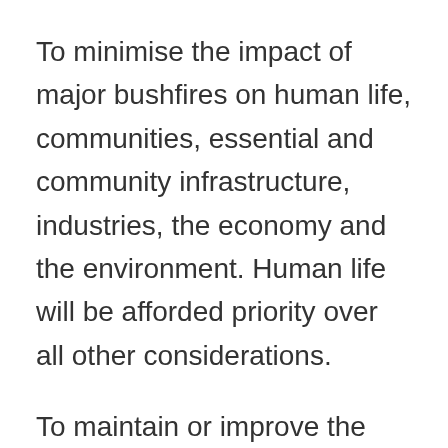To minimise the impact of major bushfires on human life, communities, essential and community infrastructure, industries, the economy and the environment. Human life will be afforded priority over all other considerations.
To maintain or improve the resilience of natural ecosystems and their ability to deliver services such as biodiversity,